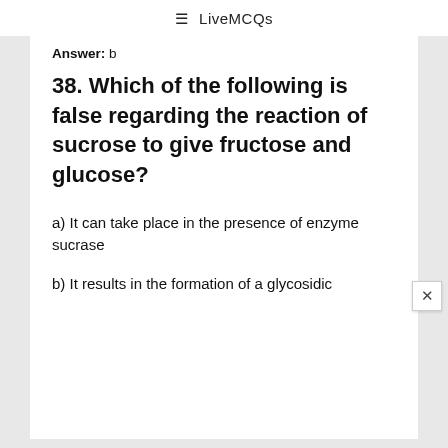≡ LiveMCQs
Answer: b
38. Which of the following is false regarding the reaction of sucrose to give fructose and glucose?
a) It can take place in the presence of enzyme sucrase
b) It results in the formation of a glycosidic